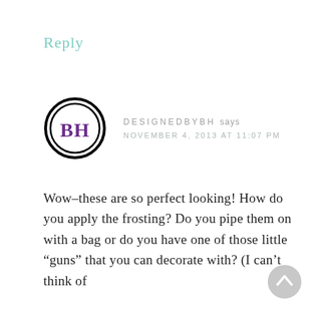Reply
DESIGNEDBYBH says
NOVEMBER 4, 2013 AT 11:07 PM
[Figure (logo): Circular logo with letters BH in purple serif font, black ring border on white background]
Wow–these are so perfect looking! How do you apply the frosting? Do you pipe them on with a bag or do you have one of those little “guns” that you can decorate with? (I can’t think of